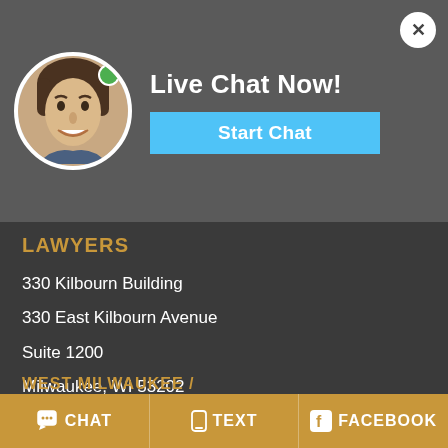[Figure (screenshot): Live chat overlay with man's avatar photo, green online indicator dot, 'Live Chat Now!' heading, 'Start Chat' blue button, and X close button on dark gray background]
DOW
MILWAUKEE
LAWYERS
330 Kilbourn Building
330 East Kilbourn Avenue
Suite 1200
Milwaukee, WI 53202
Phone: (414) 271-1011
(888) 271-1022
(Kilbourn & Broadway)
WEST MILWAUKEE /
CHAT   TEXT   FACEBOOK